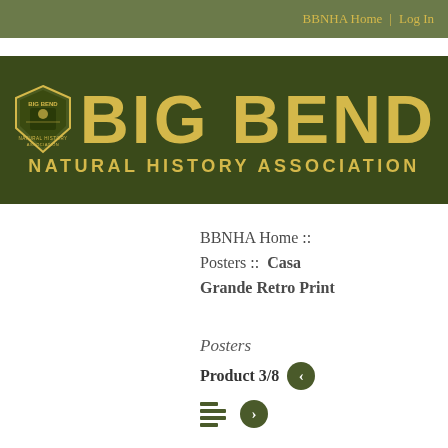BBNHA Home | Log In
[Figure (logo): Big Bend Natural History Association banner logo with shield emblem on dark olive green background. Large yellow text reads BIG BEND, subtitle reads NATURAL HISTORY ASSOCIATION.]
BBNHA Home :: Posters :: Casa Grande Retro Print
Posters
Product 3/8
Casa Grande Retro Print